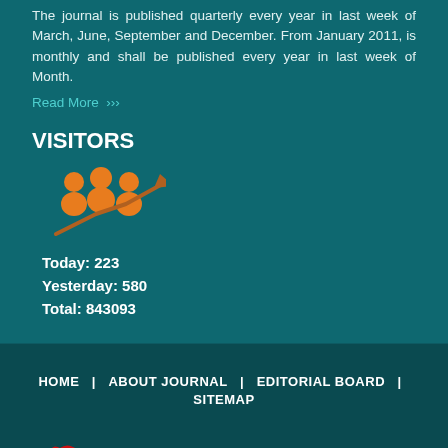The journal is published quarterly every year in last week of March, June, September and December. From January 2011, is monthly and shall be published every year in last week of Month.
Read More >>>
VISITORS
[Figure (illustration): Orange icon of group of people with an upward trending arrow, symbolizing visitor growth]
Today: 223
Yesterday: 580
Total: 843093
HOME | ABOUT JOURNAL | EDITORIAL BOARD | SITEMAP
[Figure (logo): T-Labs Solutions logo with a stylized T and wifi symbol]
Designed and Developed by: T-Labs Solutions